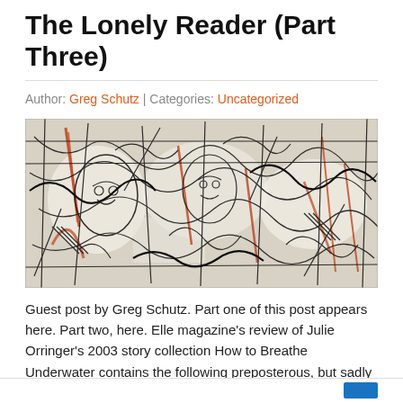The Lonely Reader (Part Three)
Author: Greg Schutz | Categories: Uncategorized
[Figure (illustration): Abstract expressionist artwork with dense black charcoal lines and orange/red accents, depicting fragmented figures and geometric forms in a wide horizontal composition.]
Guest post by Greg Schutz. Part one of this post appears here. Part two, here. Elle magazine's review of Julie Orringer's 2003 story collection How to Breathe Underwater contains the following preposterous, but sadly typical, statement: "Each story delivers the satisfying details and emotional heft of a novel." The